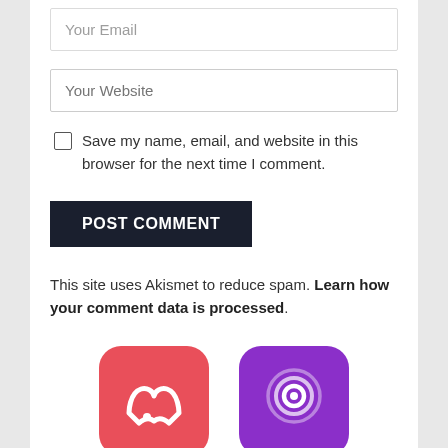[Figure (screenshot): Input field with placeholder text 'Your Email' (partially visible at top)]
[Figure (screenshot): Input field with placeholder text 'Your Website']
Save my name, email, and website in this browser for the next time I comment.
[Figure (screenshot): Dark button labeled POST COMMENT]
This site uses Akismet to reduce spam. Learn how your comment data is processed.
[Figure (logo): Two app icons: a red icon with white letter M and a purple icon with a person/signal symbol]